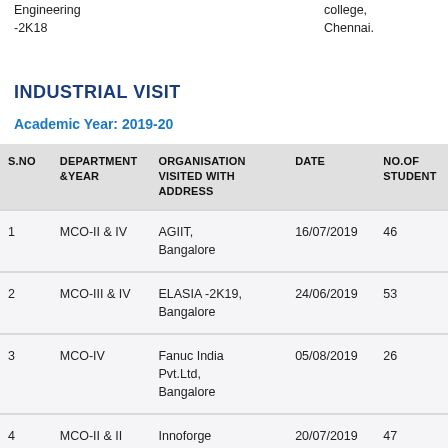Engineering -2K18
college, Chennai.
INDUSTRIAL VISIT
Academic Year: 2019-20
| S.NO | DEPARTMENT &YEAR | ORGANISATION VISITED WITH ADDRESS | DATE | NO.OF STUDENTS |
| --- | --- | --- | --- | --- |
| 1 | MCO-II & IV | AGIIT, Bangalore | 16/07/2019 | 46 |
| 2 | MCO-III & IV | ELASIA -2K19, Bangalore | 24/06/2019 | 53 |
| 3 | MCO-IV | Fanuc India Pvt.Ltd, Bangalore | 05/08/2019 | 26 |
| 4 | MCO-II & II | Innoforge Pvt.Ltd, Hosur | 20/07/2019 | 47 |